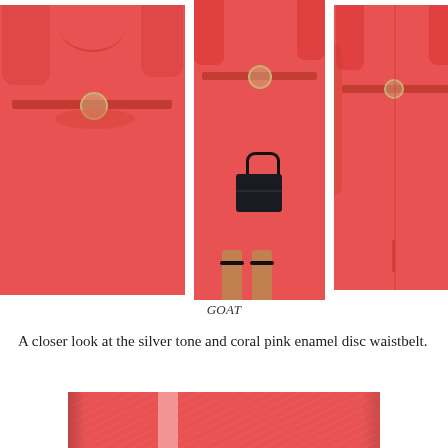[Figure (photo): Three views of a coral pink belted midi dress: front-left view showing V-neckline and silver disc waistbelt, center full-length view of model holding a black handbag, and back-right view showing fitted silhouette with vent.]
GOAT
A closer look at the silver tone and coral pink enamel disc waistbelt.
[Figure (photo): Close-up of the silver tone and coral pink enamel disc waistbelt detail on the coral dress fabric.]